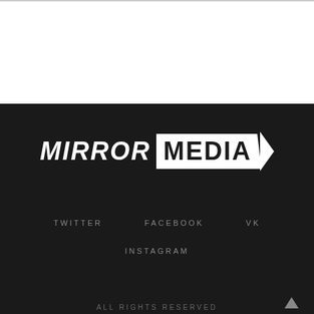[Figure (logo): Mirror Media logo — 'MIRROR' in italic white text followed by 'MEDIA' in black text on white parallelogram background with arrow, on dark background]
TWITTER
FACEBOOK
VK
INSTAGRAM
ALL RIGHTS RESERVED